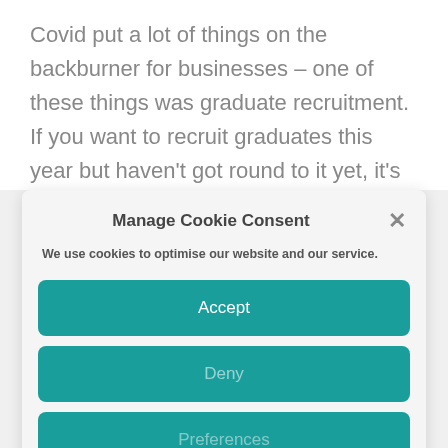Covid put a lot of things on the backburner for businesses – one of these things was graduate recruitment. If you want to recruit graduates this year but haven't got round to it yet, it's time to put the wheels in motion! Trends in the market suggest
Manage Cookie Consent
We use cookies to optimise our website and our service.
Accept
Deny
Preferences